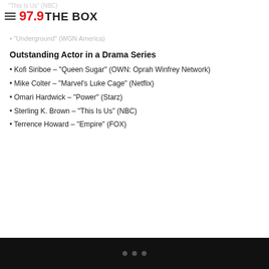97.9 THE BOX
"This Is Us" (NBC)
"Underground" (WGN America)
Outstanding Actor in a Drama Series
Kofi Siriboe – "Queen Sugar" (OWN: Oprah Winfrey Network)
Mike Colter – "Marvel's Luke Cage" (Netflix)
Omari Hardwick – "Power" (Starz)
Sterling K. Brown – "This Is Us" (NBC)
Terrence Howard – "Empire" (FOX)